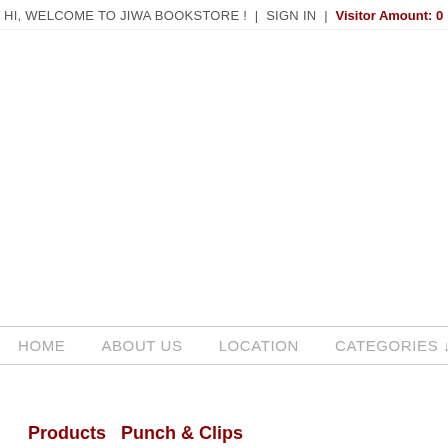HI, WELCOME TO JIWA BOOKSTORE !  |  SIGN IN  |  Visitor Amount: 0
HOME   ABOUT US   LOCATION   CATEGORIES ↓   OFFI…
Products   Punch & Clips
| Name : | REINFORMENT-RINGS |
| Code : | PER BOX |
| Price : | MYR3.00 |
| Weight : | 20.00G |